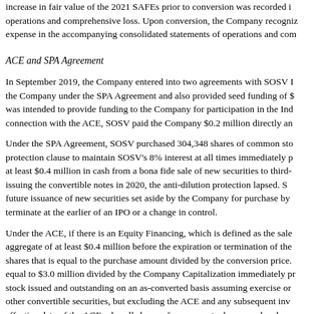increase in fair value of the 2021 SAFEs prior to conversion was recorded in operations and comprehensive loss. Upon conversion, the Company recognized expense in the accompanying consolidated statements of operations and comprehensive loss.
ACE and SPA Agreement
In September 2019, the Company entered into two agreements with SOSV I the Company under the SPA Agreement and also provided seed funding of $ was intended to provide funding to the Company for participation in the Indi connection with the ACE, SOSV paid the Company $0.2 million directly and
Under the SPA Agreement, SOSV purchased 304,348 shares of common stock protection clause to maintain SOSV's 8% interest at all times immediately p at least $0.4 million in cash from a bona fide sale of new securities to third-p issuing the convertible notes in 2020, the anti-dilution protection lapsed. SO future issuance of new securities set aside by the Company for purchase by i terminate at the earlier of an IPO or a change in control.
Under the ACE, if there is an Equity Financing, which is defined as the sale aggregate of at least $0.4 million before the expiration or termination of the a shares that is equal to the purchase amount divided by the conversion price. equal to $3.0 million divided by the Company Capitalization immediately pr stock issued and outstanding on an as-converted basis assuming exercise or other convertible securities, but excluding the ACE and any subsequent inve effective date of the ACE, plus all shares of common stock reserved and ava the price per share of equity sold in such Equity Financing multiplied by the
If the Company raises less than $0.4 million through the issuance of the Con third-party investors, the holder of the ACE shall have the option, at its sole d stock issued in such equity financing equal to the purchase price divided by